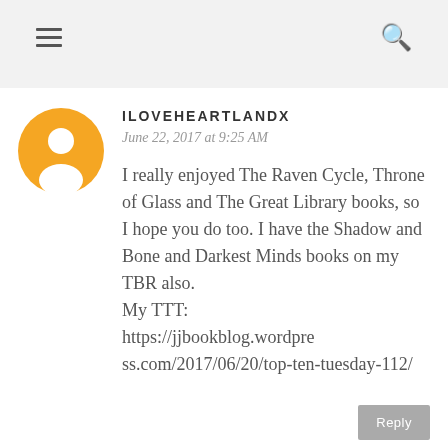ILOVEHEARTLANDX
June 22, 2017 at 9:25 AM
I really enjoyed The Raven Cycle, Throne of Glass and The Great Library books, so I hope you do too. I have the Shadow and Bone and Darkest Minds books on my TBR also.
My TTT:
https://jjbookblog.wordpress.com/2017/06/20/top-ten-tuesday-112/
Reply